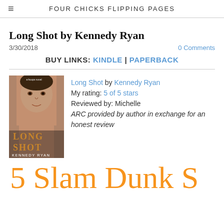FOUR CHICKS FLIPPING PAGES
Long Shot by Kennedy Ryan
3/30/2018
0 Comments
BUY LINKS: KINDLE | PAPERBACK
[Figure (photo): Book cover of Long Shot by Kennedy Ryan showing a man's face and torso with text 'LONG SHOT' and 'KENNEDY RYAN']
Long Shot by Kennedy Ryan
My rating: 5 of 5 stars
Reviewed by: Michelle
ARC provided by author in exchange for an honest review
5 Slam Dunk S